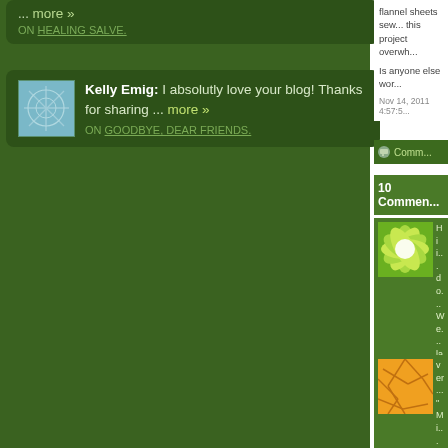Kelly Emig: I absolutly love your blog! Thanks for sharing ... more »
ON GOODBYE, DEAR FRIENDS.
flannel sheets sew... this project overwh...
Is anyone else wor...
Nov 14, 2011 4:57:5...
Comments
10 Comments
Hi i... do... We... lav... you... sar...
ver... "Mi... nor...